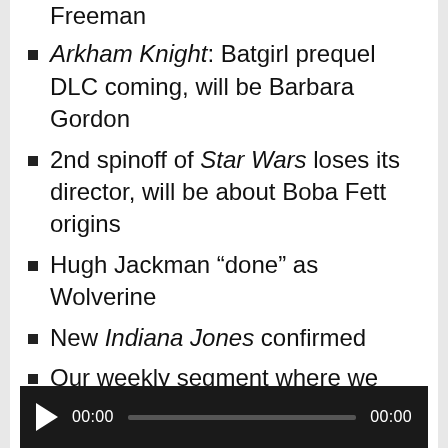Freeman
Arkham Knight: Batgirl prequel DLC coming, will be Barbara Gordon
2nd spinoff of Star Wars loses its director, will be about Boba Fett origins
Hugh Jackman “done” as Wolverine
New Indiana Jones confirmed
Our weekly segment where we decide “Who Would Win” in between two random geeky characters in a random challenge, or “WhoDaWin.” This week features Fox McCloud and Ratchet and Clank.
[Figure (other): Audio player bar with play button, time display 00:00, progress bar, and end time 00:00 on dark background]